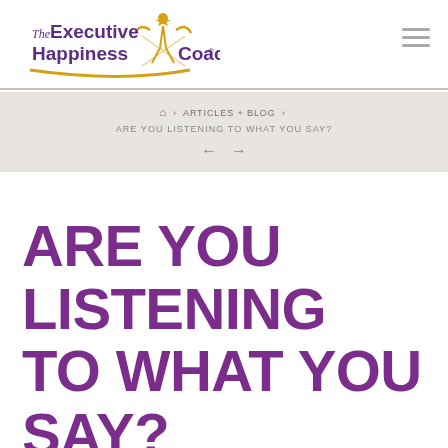[Figure (logo): The Executive Happiness Coach logo with purple text and gold star/figure graphic]
⌂ › ARTICLES + BLOG › ARE YOU LISTENING TO WHAT YOU SAY? ← →
ARE YOU LISTENING TO WHAT YOU SAY?